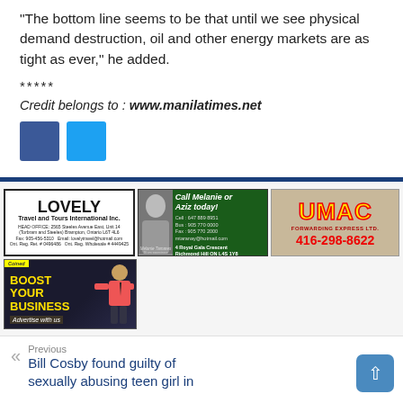“The bottom line seems to be that until we see physical demand destruction, oil and other energy markets are as tight as ever,” he added.
*****
Credit belongs to : www.manilatimes.net
[Figure (other): Social media share buttons: Facebook (blue) and Twitter (light blue)]
[Figure (other): Advertisement: Lovely Travel and Tours International Inc. black and white border ad with company name and contact details]
[Figure (other): Advertisement: Call Melanie or Aziz today! Green background real estate ad with photo, phone numbers, and address at 4 Royal Gala Crescent, Richmond Hill ON L4S 1Y8]
[Figure (other): Advertisement: UMAC logo in yellow on tan background with phone number 416-298-8622 in red]
[Figure (other): Advertisement: Boost Your Business - Advertise with us, dark background with yellow text and superhero figure]
Previous
Bill Cosby found guilty of sexually abusing teen girl in